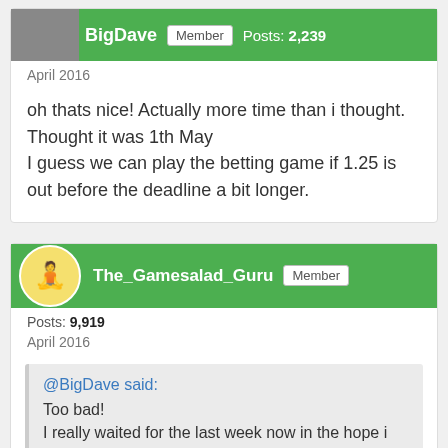BigDave | Member | Posts: 2,239 | April 2016
oh thats nice! Actually more time than i thought. Thought it was 1th May
I guess we can play the betting game if 1.25 is out before the deadline a bit longer.
The_Gamesalad_Guru | Member | Posts: 9,919 | April 2016
@BigDave said:
Too bad!
I really waited for the last week now in the hope i can update all my android apps with 1.25 to get rid of the